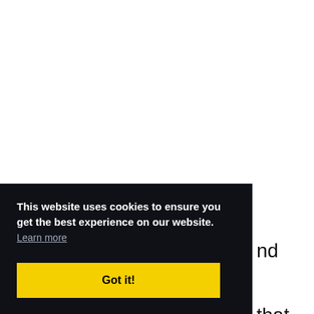[Figure (screenshot): White empty area representing a webpage background above the cookie consent banner]
This website uses cookies to ensure you get the best experience on our website.
Learn more
Got it!
nd
that